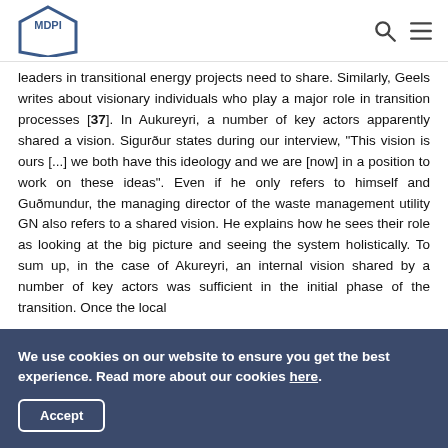MDPI
leaders in transitional energy projects need to share. Similarly, Geels writes about visionary individuals who play a major role in transition processes [37]. In Aukureyri, a number of key actors apparently shared a vision. Sigurður states during our interview, "This vision is ours [...] we both have this ideology and we are [now] in a position to work on these ideas". Even if he only refers to himself and Guðmundur, the managing director of the waste management utility GN also refers to a shared vision. He explains how he sees their role as looking at the big picture and seeing the system holistically. To sum up, in the case of Akureyri, an internal vision shared by a number of key actors was sufficient in the initial phase of the transition. Once the local
We use cookies on our website to ensure you get the best experience. Read more about our cookies here. Accept